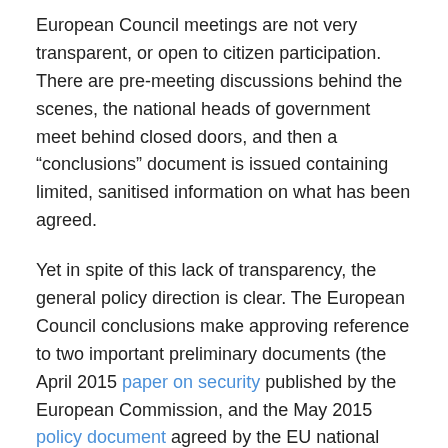European Council meetings are not very transparent, or open to citizen participation. There are pre-meeting discussions behind the scenes, the national heads of government meet behind closed doors, and then a “conclusions” document is issued containing limited, sanitised information on what has been agreed.
Yet in spite of this lack of transparency, the general policy direction is clear. The European Council conclusions make approving reference to two important preliminary documents (the April 2015 paper on security published by the European Commission, and the May 2015 policy document agreed by the EU national defence and foreign ministers). Putting all this information together with what we already know about EU policy, some overall themes become apparent: